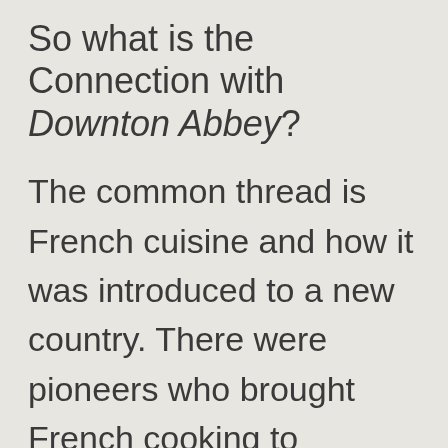So what is the Connection with Downton Abbey?
The common thread is French cuisine and how it was introduced to a new country. There were pioneers who brought French cooking to wealthy Britons on a grand scale in the Edwardian era, and then there was Julia who took it to another level in